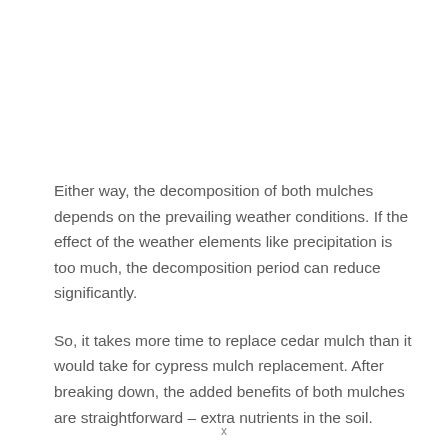Either way, the decomposition of both mulches depends on the prevailing weather conditions. If the effect of the weather elements like precipitation is too much, the decomposition period can reduce significantly.
So, it takes more time to replace cedar mulch than it would take for cypress mulch replacement. After breaking down, the added benefits of both mulches are straightforward – extra nutrients in the soil.
There's always a bigger cost implication for mulch that's
x